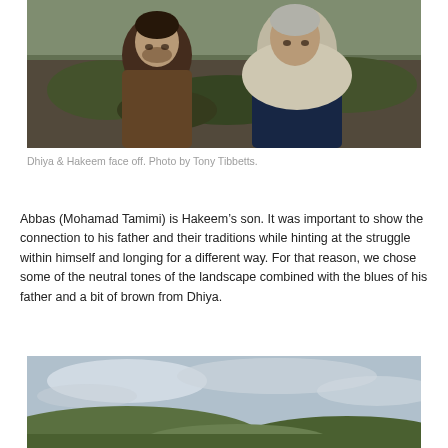[Figure (photo): Two men facing each other closely outdoors in natural setting. One younger man in brown shirt on left, one older man with white/grey hair wearing cream/white wrap on right. Natural shrubby background.]
Dhiya & Hakeem face off. Photo by Tony Tibbetts.
Abbas (Mohamad Tamimi) is Hakeem’s son. It was important to show the connection to his father and their traditions while hinting at the struggle within himself and longing for a different way. For that reason, we chose some of the neutral tones of the landscape combined with the blues of his father and a bit of brown from Dhiya.
[Figure (photo): Landscape outdoor scene with cloudy sky and rolling hills with green vegetation.]